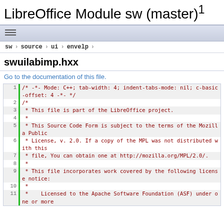LibreOffice Module sw (master) 1
[Figure (other): Navigation/hamburger menu icon bar]
sw › source › ui › envelp
swuilabimp.hxx
Go to the documentation of this file.
1  /* -*- Mode: C++; tab-width: 4; indent-tabs-mode: nil; c-basic-offset: 4 -*- */
2  /*
3   * This file is part of the LibreOffice project.
4   *
5   * This Source Code Form is subject to the terms of the Mozilla Public
6   * License, v. 2.0. If a copy of the MPL was not distributed with this
7   * file, You can obtain one at http://mozilla.org/MPL/2.0/.
8   *
9   * This file incorporates work covered by the following license notice:
10  *
11  *    Licensed to the Apache Software Foundation (ASF) under one or more